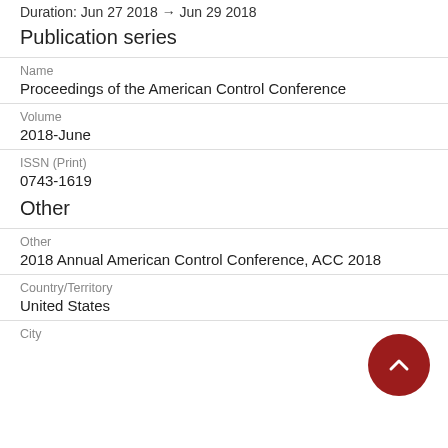Duration: Jun 27 2018 → Jun 29 2018
Publication series
Name
Proceedings of the American Control Conference
Volume
2018-June
ISSN (Print)
0743-1619
Other
Other
2018 Annual American Control Conference, ACC 2018
Country/Territory
United States
City